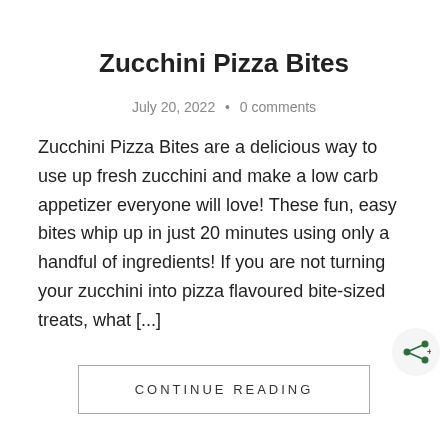Zucchini Pizza Bites
July 20, 2022  •  0 comments
Zucchini Pizza Bites are a delicious way to use up fresh zucchini and make a low carb appetizer everyone will love! These fun, easy bites whip up in just 20 minutes using only a handful of ingredients! If you are not turning your zucchini into pizza flavoured bite-sized treats, what [...]
CONTINUE READING